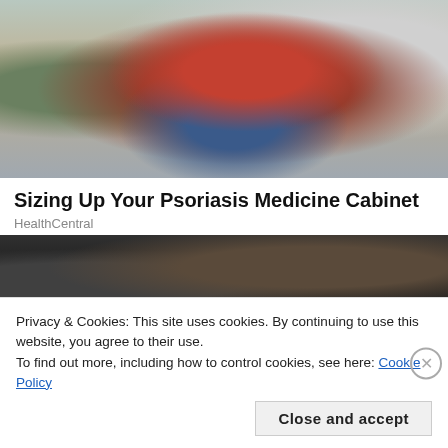[Figure (photo): Woman in red plaid shirt crouching in a pharmacy aisle, examining a product from a shelf stocked with various health products.]
Sizing Up Your Psoriasis Medicine Cabinet
HealthCentral
[Figure (photo): Close-up of a dark-haired person's face, partially visible, dark background.]
Privacy & Cookies: This site uses cookies. By continuing to use this website, you agree to their use.
To find out more, including how to control cookies, see here: Cookie Policy
Close and accept